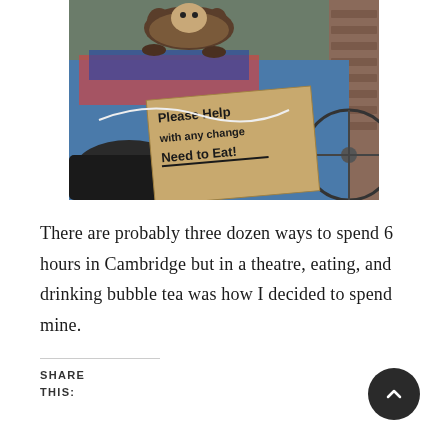[Figure (photo): A Siamese cat sitting on top of a pile of belongings next to a handwritten cardboard sign that reads 'Please Help with any change Need to Eat!' The scene appears to be on a street, with a bicycle wheel visible in the background.]
There are probably three dozen ways to spend 6 hours in Cambridge but in a theatre, eating, and drinking bubble tea was how I decided to spend mine.
SHARE THIS: